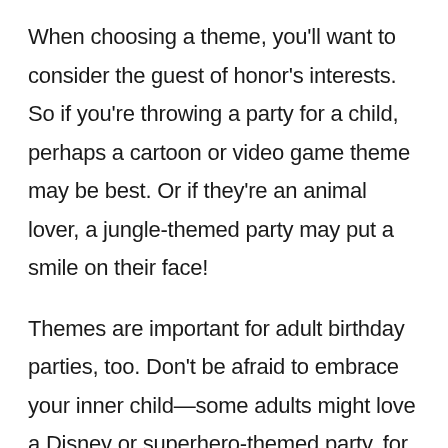When choosing a theme, you'll want to consider the guest of honor's interests. So if you're throwing a party for a child, perhaps a cartoon or video game theme may be best. Or if they're an animal lover, a jungle-themed party may put a smile on their face!
Themes are important for adult birthday parties, too. Don't be afraid to embrace your inner child—some adults might love a Disney or superhero-themed party, for instance.